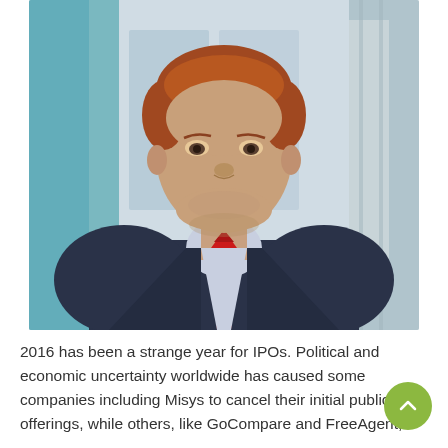[Figure (photo): Professional headshot of a young man with red hair, wearing a dark navy suit and red tie, photographed against a blurred urban/office background.]
2016 has been a strange year for IPOs. Political and economic uncertainty worldwide has caused some companies including Misys to cancel their initial public offerings, while others, like GoCompare and FreeAgent,